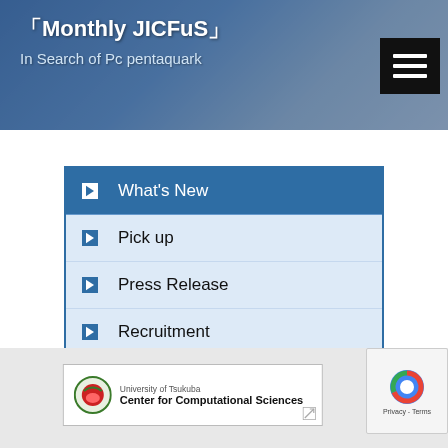Monthly JICFuS - In Search of Pc pentaquark
What's New
Pick up
Press Release
Recruitment
Monthly JICFuS
Post K
[Figure (logo): University of Tsukuba Center for Computational Sciences logo]
Privacy - Terms